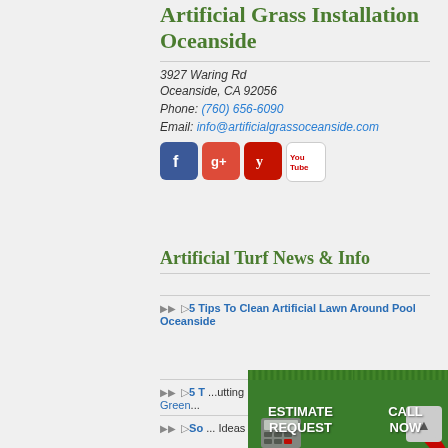Artificial Grass Installation Oceanside
3927 Waring Rd
Oceanside, CA 92056
Phone: (760) 656-6090
Email: info@artificialgrassoceanside.com
[Figure (infographic): Social media icons: Facebook, Google+, Yelp, YouTube]
Artificial Turf News & Info
▷5 Tips To Clean Artificial Lawn Around Pool Oceanside
[Figure (infographic): CTA banner with two buttons: ESTIMATE REQUEST (with calculator image on grass) and CALL NOW (with red phone on grass)]
▷5 T... putting Green...
▷So... Ideas